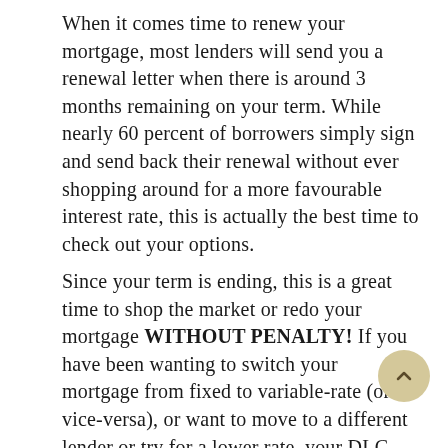When it comes time to renew your mortgage, most lenders will send you a renewal letter when there is around 3 months remaining on your term. While nearly 60 percent of borrowers simply sign and send back their renewal without ever shopping around for a more favourable interest rate, this is actually the best time to check out your options.
Since your term is ending, this is a great time to shop the market or redo your mortgage WITHOUT PENALTY! If you have been wanting to switch your mortgage from fixed to variable-rate (or vice-versa), or want to move to a different lender or try for a lower rate, your DLC Mortgage Professional can help!
Do be advised, if you are considering switching lenders, you will need to inquire about any exist life insurance or other policies that you have, as this